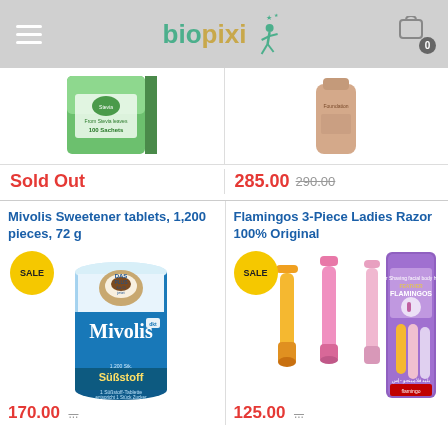biopixi
[Figure (photo): Green Stevia sweetener box product image (partial, top portion)]
Sold Out
[Figure (photo): Cosmetics foundation product image (partial, top portion)]
285.00  290.00
Mivolis Sweetener tablets, 1,200 pieces, 72 g
Flamingos 3-Piece Ladies Razor 100% Original
[Figure (photo): Mivolis Süßstoff (sweetener) blue canister product, 1200 pieces, with SALE badge]
[Figure (photo): Flamingo 3-piece ladies razor colorful set with packaging, with SALE badge]
170.00
125.00